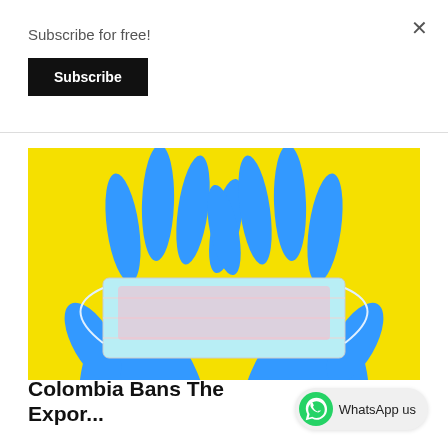Subscribe for free!
Subscribe
[Figure (photo): Two blue-gloved hands holding a surgical/medical face mask against a bright yellow background]
Colombia Bans The Expo...